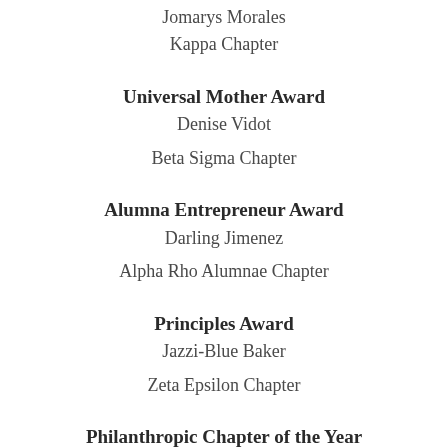Jomarys Morales
Kappa Chapter
Universal Mother Award
Denise Vidot
Beta Sigma Chapter
Alumna Entrepreneur Award
Darling Jimenez
Alpha Rho Alumnae Chapter
Principles Award
Jazzi-Blue Baker
Zeta Epsilon Chapter
Philanthropic Chapter of the Year
Delta Rho Chapter